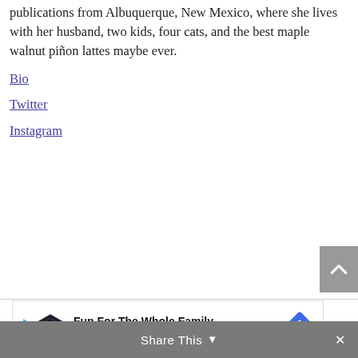publications from Albuquerque, New Mexico, where she lives with her husband, two kids, four cats, and the best maple walnut piñon lattes maybe ever.
Bio
Twitter
Instagram
[Figure (other): Advertisement banner for Topgolf: 'Fun For The Whole Family' with Topgolf logo and blue diamond icon]
Share This ∨  ✕